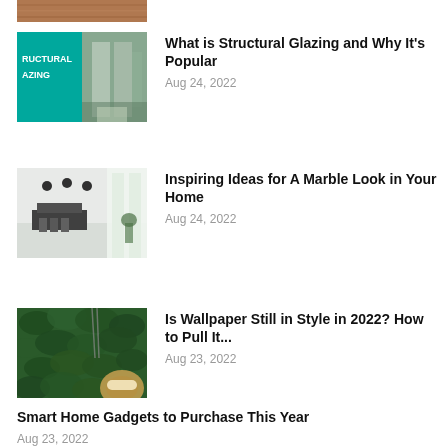[Figure (photo): Partial cropped image at top — appears to be a wood/flooring texture]
[Figure (photo): Teal/green promotional graphic with text 'RUCTURAL AZING' and an interior architectural photo with glass]
What is Structural Glazing and Why It's Popular
Aug 24, 2022
[Figure (photo): Modern white interior with dining chairs and pendant lights]
Inspiring Ideas for A Marble Look in Your Home
Aug 24, 2022
[Figure (photo): Green tropical plant wall/vertical garden with wicker chair]
Is Wallpaper Still in Style in 2022? How to Pull It...
Aug 23, 2022
Smart Home Gadgets to Purchase This Year
Aug 23, 2022